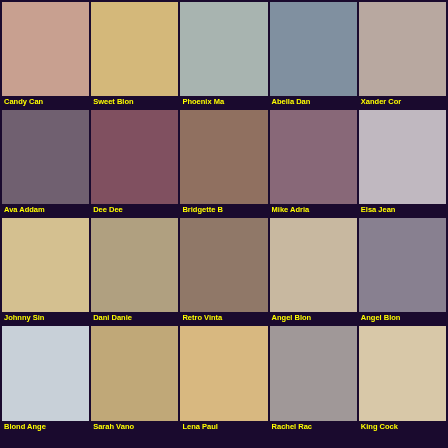[Figure (other): Grid of video thumbnails with labels: Candy Can, Sweet Blon, Phoenix Ma, Abella Dan, Xander Cor, Ava Addam, Dee Dee, Bridgette B, Mike Adria, Elsa Jean, Johnny Sin, Dani Danie, Retro Vinta, Angel Blon, Angel Blon, Blond Ange, Sarah Vano, Lena Paul, Rachel Rac, King Cock, and 5 partial thumbnails in row 5]